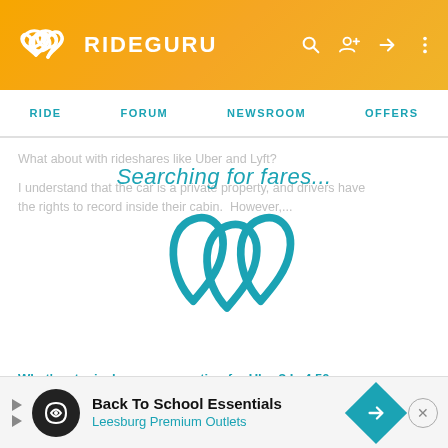[Figure (logo): RideGuru logo with interlinked heart shapes in white on orange gradient header background]
RIDE   FORUM   NEWSROOM   OFFERS
What about with rideshares like Uber and Lyft?
I understand that the car is a private property, and drivers have the rights to record inside their cabin. However,...
[Figure (logo): RideGuru animated spinner logo with teal interlocking teardrop/heart shapes, large centered overlay showing 'Searching for fares...']
Searching for fares...
What's a typical passenger rating for Uber? Is 4.50 good?
Posted by Judgeitoh on March 28, 2018
[Figure (screenshot): Advertisement banner: Back To School Essentials - Leesburg Premium Outlets with infinity logo and navigation arrow icon]